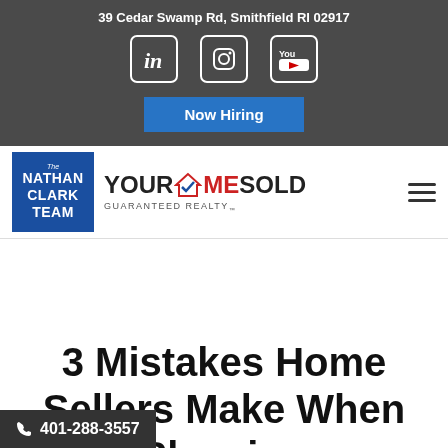39 Cedar Swamp Rd, Smithfield RI 02917
[Figure (logo): Social media icons: LinkedIn, Instagram, YouTube]
Now Hiring
[Figure (logo): The Nathan Clark Team logo alongside YourHomeSold Guaranteed Realty logo]
3 Mistakes Home Sellers Make When Showing
401-288-3557